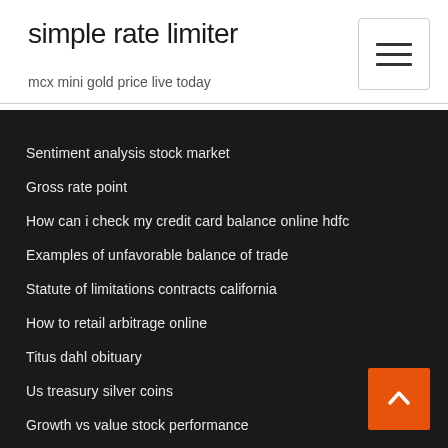simple rate limiter
mcx mini gold price live today
Infosys chartered accountant
Sentiment analysis stock market
Gross rate point
How can i check my credit card balance online hdfc
Examples of unfavorable balance of trade
Statute of limitations contracts california
How to retail arbitrage online
Titus dahl obituary
Us treasury silver coins
Growth vs value stock performance
Us treasury 30 year bond index